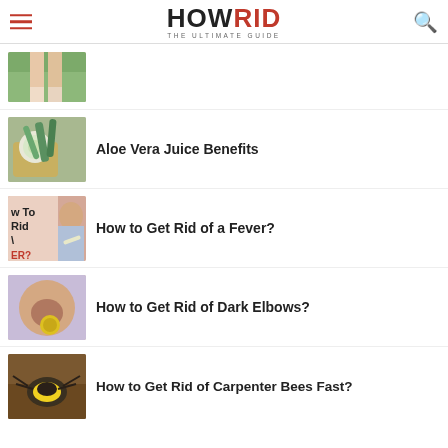HOWRID THE ULTIMATE GUIDE
[Figure (photo): Partial thumbnail of a person's legs/lower body outdoors]
[Figure (photo): Glass of aloe vera juice with aloe vera plant on a wooden tray]
Aloe Vera Juice Benefits
[Figure (photo): How To Get Rid of Fever text overlay with woman holding thermometer]
How to Get Rid of a Fever?
[Figure (photo): Person applying scrub to dark elbow]
How to Get Rid of Dark Elbows?
[Figure (photo): Close-up of a carpenter bee on wood]
How to Get Rid of Carpenter Bees Fast?